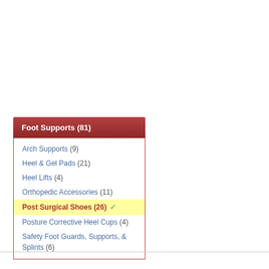Foot Supports (81)
Arch Supports (9)
Heel & Gel Pads (21)
Heel Lifts (4)
Orthopedic Accessories (11)
Post Surgical Shoes (26)
Posture Corrective Heel Cups (4)
Safety Foot Guards, Supports, & Splints (6)